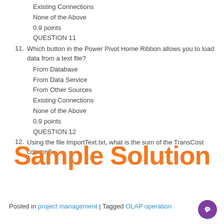Existing Connections
None of the Above
0.9 points
QUESTION 11
11. Which button in the Power Pivot Home Ribbon allows you to load data from a text file?
From Database
From Data Service
From Other Sources
Existing Connections
None of the Above
0.9 points
QUESTION 12
12. Using the file ImportText.txt, what is the sum of the TransCost column?
Sample Solution
Posted in project management | Tagged OLAP operation